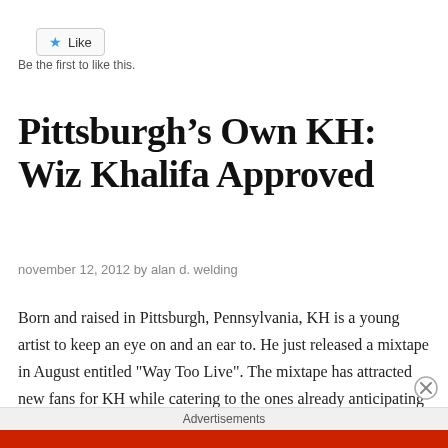[Figure (other): Like button widget with star icon]
Be the first to like this.
Pittsburgh’s Own KH: Wiz Khalifa Approved
november 12, 2012 by alan d. welding
Born and raised in Pittsburgh, Pennsylvania, KH is a young artist to keep an eye on and an ear to. He just released a mixtape in August entitled "Way Too Live". The mixtape has attracted new fans for KH while catering to the ones already anticipating the release. Having worked with producers like Sledgren and …
Advertisements